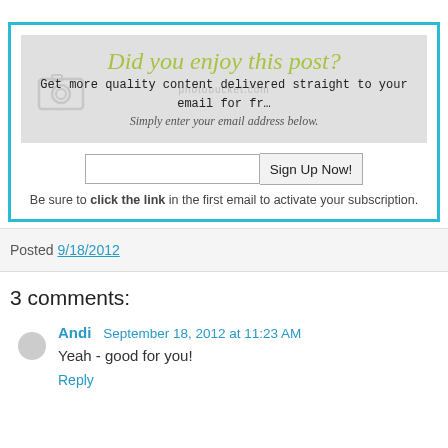[Figure (infographic): Email signup box with teal/cyan border. Contains a gray banner image with 'Did you enjoy this post?' in olive/yellow-green italic script, 'Get more quality content delivered straight to your email for fr...' in monospace, and 'Simply enter your email address below.' in italic. Below is an email input field and 'Sign Up Now!' button. Text reads: Be sure to click the link in the first email to activate your subscription.]
Be sure to click the link in the first email to activate your subscription.
Posted 9/18/2012
3 comments:
Andi  September 18, 2012 at 11:23 AM
Yeah - good for you!
Reply